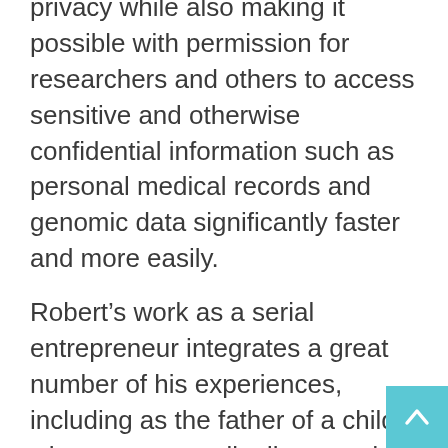privacy while also making it possible with permission for researchers and others to access sensitive and otherwise confidential information such as personal medical records and genomic data significantly faster and more easily.
Robert's work as a serial entrepreneur integrates a great number of his experiences, including as the father of a child who was prenatally diagnosed with a rare chromosomal variation; serving for seven years as Chairman of a national non-profit disease advocacy organization addressing several